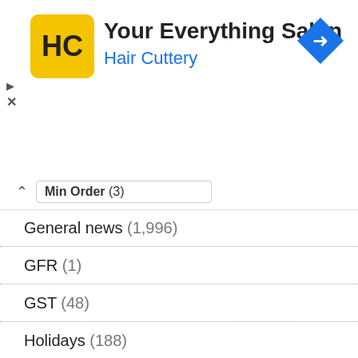[Figure (screenshot): Hair Cuttery advertisement banner with HC logo, title 'Your Everything Salon', subtitle 'Hair Cuttery', and a blue navigation arrow icon.]
Min Order (3)
General news (1,996)
GFR (1)
GST (48)
Holidays (188)
HRA (83)
Income Tax (236)
IT Exemption (90)
KV School (288)